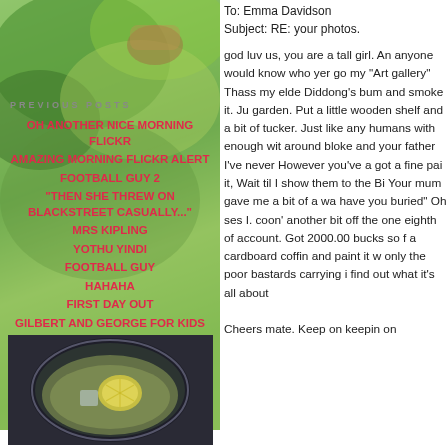[Figure (photo): Background nature/garden photo with green foliage and a basket, covering the left column area]
PREVIOUS POSTS
OH ANOTHER NICE MORNING FLICKR
AMAZING MORNING FLICKR ALERT
FOOTBALL GUY 2
"THEN SHE THREW ON BLACKSTREET CASUALLY..."
MRS KIPLING
YOTHU YINDI
FOOTBALL GUY
HAHAHA
FIRST DAY OUT
GILBERT AND GEORGE FOR KIDS
[Figure (photo): Photo of a drink with lemon slice in a glass bowl]
To: Emma Davidson
Subject: RE: your photos.

god luv us, you are a tall girl. An anyone would know who yer go my "Art gallery" Thass my elde Diddong's bum and smoke it. Ju garden. Put a little wooden shelf and a bit of tucker. Just like any humans with enough wit around bloke and your father I've never However you've a got a fine pai it, Wait til I show them to the Bi Your mum gave me a bit of a wa have you buried" Oh ses I. coon' another bit off the one eighth of account. Got 2000.00 bucks so f a cardboard coffin and paint it w only the poor bastards carrying i find out what it's all about
Cheers mate. Keep on keepin on